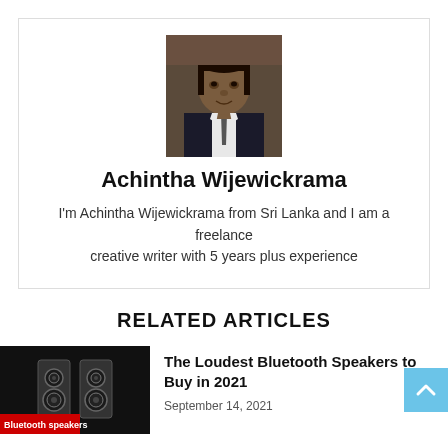[Figure (photo): Headshot photo of Achintha Wijewickrama, a man in a dark suit and tie]
Achintha Wijewickrama
I'm Achintha Wijewickrama from Sri Lanka and I am a freelance creative writer with 5 years plus experience
RELATED ARTICLES
[Figure (photo): Thumbnail image of Bluetooth speakers on a dark background with text 'Bluetooth speakers']
The Loudest Bluetooth Speakers to Buy in 2021
September 14, 2021